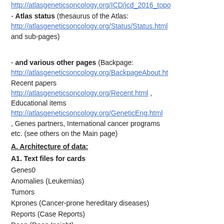http://atlasgeneticsoncology.org/ICD/icd_2016_topo
- Atlas status (thesaurus of the Atlas: http://atlasgeneticsoncology.org/Status/Status.html and sub-pages)
- and various other pages (Backpage: http://atlasgeneticsoncology.org/BackpageAbout.ht Recent papers http://atlasgeneticsoncology.org/Recent.html , Educational items http://atlasgeneticsoncology.org/GeneticEng.html , Genes partners, International cancer programs etc. (see others on the Main page)
A. Architecture of data:
A1. Text files for cards
Genes0
Anomalies (Leukemias)
Tumors
Kprones (Cancer-prone hereditary diseases)
Reports (Case Reports)
Deep (Deep Insight)
Educ (Educational Items)